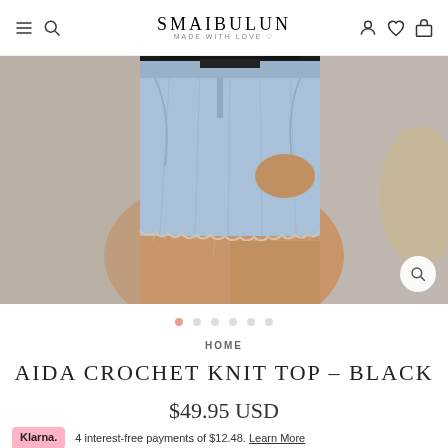SMAIBULUN MADE WITH LOVE
[Figure (photo): Close-up photo of a person wearing light-wash denim cut-off shorts with frayed hem and a black crochet knit top]
HOME
AIDA CROCHET KNIT TOP – BLACK
$49.95 USD
Klarna. 4 interest-free payments of $12.48. Learn More